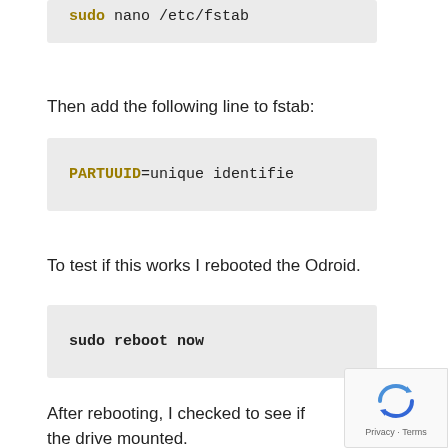[Figure (screenshot): Code block showing: sudo nano /etc/fstab (partially visible at top)]
Then add the following line to fstab:
[Figure (screenshot): Code block showing: PARTUUID=unique identifie (truncated)]
To test if this works I rebooted the Odroid.
[Figure (screenshot): Code block showing: sudo reboot now]
After rebooting, I checked to see if the drive mounted.